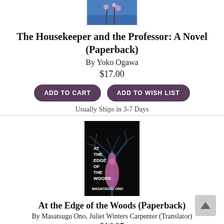[Figure (photo): Top portion of a book cover with blue sky and pink blossoms visible]
The Housekeeper and the Professor: A Novel (Paperback)
By Yoko Ogawa
$17.00
ADD TO CART
ADD TO WISH LIST
Usually Ships in 3-7 Days
[Figure (photo): Book cover of 'At the Edge of the Woods' by Masatsugu Ono — dark background with a tree silhouette in blue/teal tones and a pink/purple figure at center; white bold text reads AT THE EDGE OF THE WOODS; author name MASATSUGU ONO at bottom]
At the Edge of the Woods (Paperback)
By Masatsugu Ono, Juliet Winters Carpenter (Translator)
$16.95